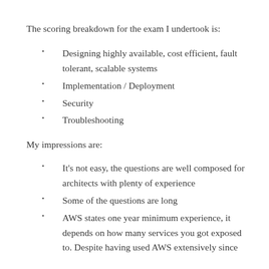The scoring breakdown for the exam I undertook is:
Designing highly available, cost efficient, fault tolerant, scalable systems
Implementation / Deployment
Security
Troubleshooting
My impressions are:
It's not easy, the questions are well composed for architects with plenty of experience
Some of the questions are long
AWS states one year minimum experience, it depends on how many services you got exposed to. Despite having used AWS extensively since